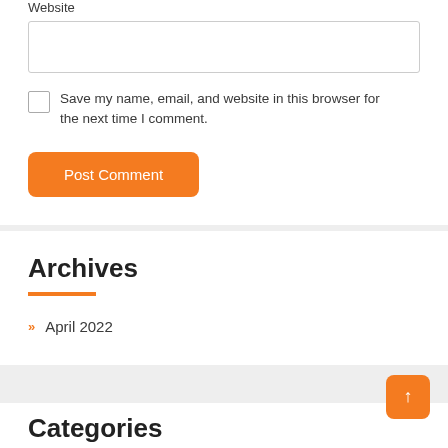Website
Save my name, email, and website in this browser for the next time I comment.
Post Comment
Archives
April 2022
Categories